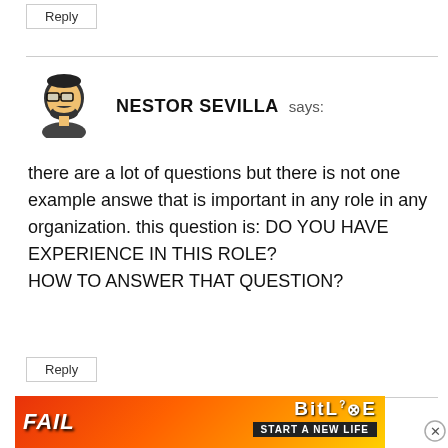Reply
NESTOR SEVILLA says:
there are a lot of questions but there is not one example answe that is important in any role in any organization. this question is: DO YOU HAVE EXPERIENCE IN THIS ROLE?
HOW TO ANSWER THAT QUESTION?
Reply
[Figure (advertisement): BitLife 'Start a New Life' advertisement banner with flames and fail text on a red/orange background]